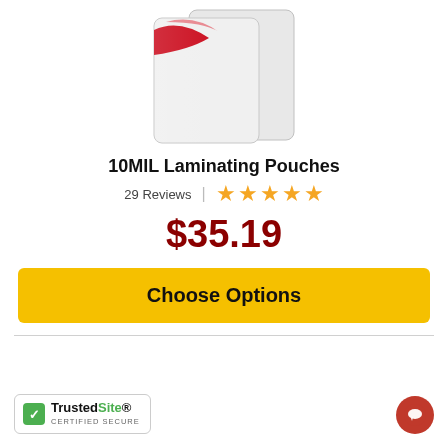[Figure (photo): Product photo of 10MIL Laminating Pouches — clear plastic laminating pouches with a red logo/brand stripe visible in the upper left area]
10MIL Laminating Pouches
29 Reviews | ★★★★★
$35.19
Choose Options
[Figure (logo): TrustedSite CERTIFIED SECURE badge with green checkmark]
[Figure (other): Red circular chat/message button icon in the bottom right corner]